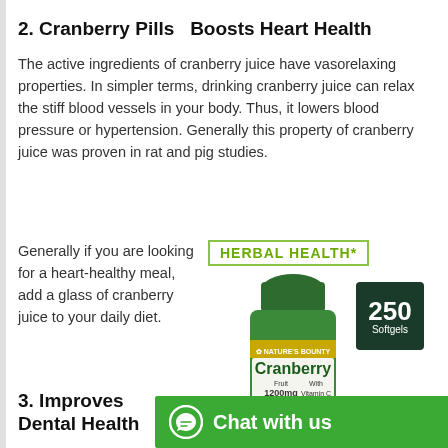2. Cranberry Pills  Boosts Heart Health
The active ingredients of cranberry juice have vasorelaxing properties. In simpler terms, drinking cranberry juice can relax the stiff blood vessels in your body. Thus, it lowers blood pressure or hypertension. Generally this property of cranberry juice was proven in rat and pig studies.
Generally if you are looking for a heart-healthy meal, add a glass of cranberry juice to your daily diet.
[Figure (photo): Nature's Bounty Cranberry supplement bottle with 250 Softgels label and Herbal Health branding]
3. Improves Dental Health